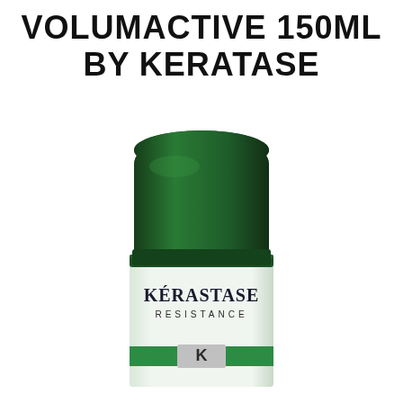VOLUMACTIVE 150ML BY KERATASE
[Figure (photo): Kerastase Resistance Volumactive 150ml product bottle with dark green rounded cap and white body showing KÉRASTASE RESISTANCE logo with green stripe and silver K emblem]